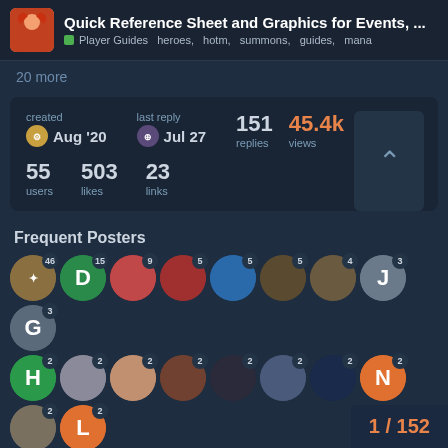Quick Reference Sheet and Graphics for Events, ... | Player Guides heroes, hotm, summons, guides, mana
20 more
| created | last reply | replies | views |
| --- | --- | --- | --- |
| Aug '20 | Jul 27 | 151 | 45.4k |
| 55 users | 503 likes | 23 links |  |
Frequent Posters
[Figure (infographic): Grid of user avatar circles with post count badges. Row 1: 46, 15, 9, 5, 5, 5, 4, 3, 3, 3. Row 2: 2, 2, 2, 2, 2, 2, 2, 2, 2, 2. Row 3: 1, 1, 1.]
Popular Links
312   Best value for money - FTP smal...
259   Best 3 ⭐ Heroes - Pick Your M...
1 / 152